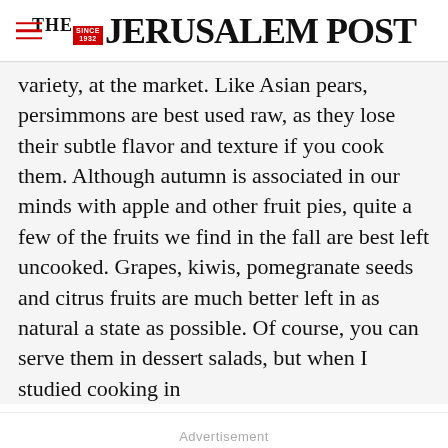THE JERUSALEM POST
variety, at the market. Like Asian pears, persimmons are best used raw, as they lose their subtle flavor and texture if you cook them. Although autumn is associated in our minds with apple and other fruit pies, quite a few of the fruits we find in the fall are best left uncooked. Grapes, kiwis, pomegranate seeds and citrus fruits are much better left in as natural a state as possible. Of course, you can serve them in dessert salads, but when I studied cooking in
Advertisement